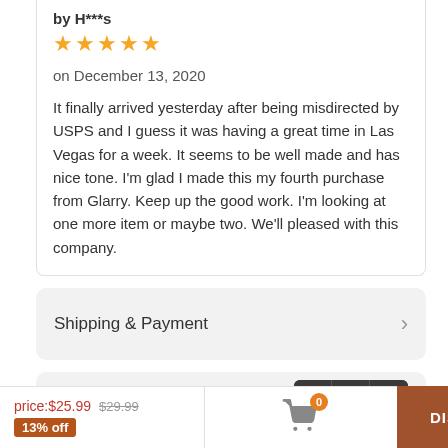by H***s
[Figure (other): 5 gold star rating icons]
on December 13, 2020
It finally arrived yesterday after being misdirected by USPS and I guess it was having a great time in Las Vegas for a week. It seems to be well made and has nice tone. I'm glad I made this my fourth purchase from Glarry. Keep up the good work. I'm looking at one more item or maybe two. We'll pleased with this company.
Shipping & Payment
Recommended Products
price:$25.99 $29.99 13% off
DISCONTINUED